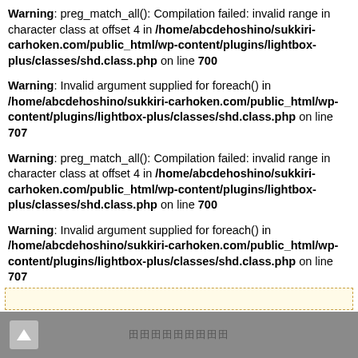Warning: preg_match_all(): Compilation failed: invalid range in character class at offset 4 in /home/abcdehoshino/sukkiri-carhoken.com/public_html/wp-content/plugins/lightbox-plus/classes/shd.class.php on line 700
Warning: Invalid argument supplied for foreach() in /home/abcdehoshino/sukkiri-carhoken.com/public_html/wp-content/plugins/lightbox-plus/classes/shd.class.php on line 707
Warning: preg_match_all(): Compilation failed: invalid range in character class at offset 4 in /home/abcdehoshino/sukkiri-carhoken.com/public_html/wp-content/plugins/lightbox-plus/classes/shd.class.php on line 700
Warning: Invalid argument supplied for foreach() in /home/abcdehoshino/sukkiri-carhoken.com/public_html/wp-content/plugins/lightbox-plus/classes/shd.class.php on line 707